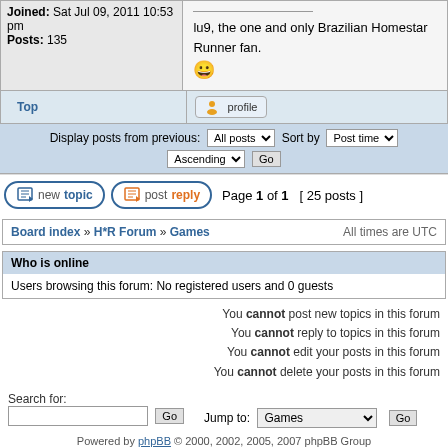Joined: Sat Jul 09, 2011 10:53 pm
Posts: 135
lu9, the one and only Brazilian Homestar Runner fan. 😀
Top
profile
Display posts from previous: All posts  Sort by  Post time  Ascending  Go
newtopic  postreply  Page 1 of 1  [ 25 posts ]
Board index » H*R Forum » Games  All times are UTC
Who is online
Users browsing this forum: No registered users and 0 guests
You cannot post new topics in this forum
You cannot reply to topics in this forum
You cannot edit your posts in this forum
You cannot delete your posts in this forum
Search for:
Jump to: Games  Go
Powered by phpBB © 2000, 2002, 2005, 2007 phpBB Group